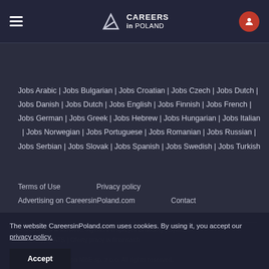CAREERS in POLAND
Jobs Arabic | Jobs Bulgarian | Jobs Croatian | Jobs Czech | Jobs Dutch | Jobs Danish | Jobs Dutch | Jobs English | Jobs Finnish | Jobs French | Jobs German | Jobs Greek | Jobs Hebrew | Jobs Hungarian | Jobs Italian | Jobs Norwegian | Jobs Portuguese | Jobs Romanian | Jobs Russian | Jobs Serbian | Jobs Slovak | Jobs Spanish | Jobs Swedish | Jobs Turkish
Terms of Use   Privacy policy   Advertising on CareersinPoland.com   Contact
Our projects & services: Agencia employer branding | System rekrutacyjny ATS | Oferty pracy w finansach
© 2014 - 2022 Grupa MBE sp. z o.o. All rights reserved.
The website CareersinPoland.com uses cookies. By using it, you accept our privacy policy.